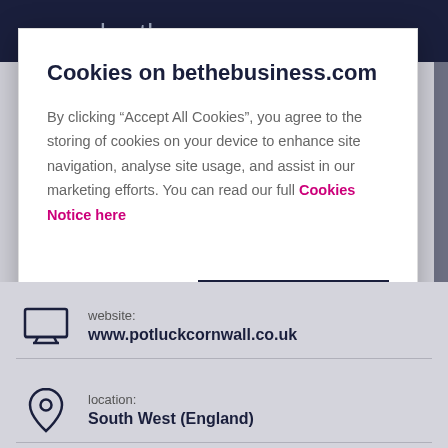be the
Cookies on bethebusiness.com
By clicking “Accept All Cookies”, you agree to the storing of cookies on your device to enhance site navigation, analyse site usage, and assist in our marketing efforts. You can read our full Cookies Notice here
Cookies Settings
Accept All Cookies
website:
www.potluckcornwall.co.uk
location:
South West (England)